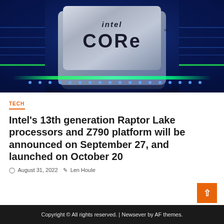[Figure (photo): Intel Core processor chip on a blue illuminated circuit board with green PCB traces and glowing blue LED dots]
TECH
Intel's 13th generation Raptor Lake processors and Z790 platform will be announced on September 27, and launched on October 20
August 31, 2022  Len Houle
Copyright © All rights reserved. | Newsever by AF themes.